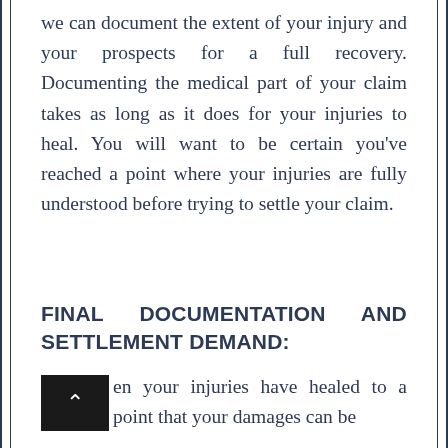we can document the extent of your injury and your prospects for a full recovery. Documenting the medical part of your claim takes as long as it does for your injuries to heal. You will want to be certain you’ve reached a point where your injuries are fully understood before trying to settle your claim.
FINAL DOCUMENTATION AND SETTLEMENT DEMAND:
en your injuries have healed to a point that your damages can be